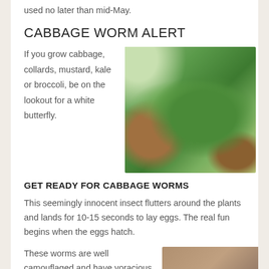used no later than mid-May.
CABBAGE WORM ALERT
If you grow cabbage, collards, mustard, kale or broccoli, be on the lookout for a white butterfly.
[Figure (photo): Close-up photograph of a green cabbage worm caterpillar on a leaf with holes chewed through it]
GET READY FOR CABBAGE WORMS
This seemingly innocent insect flutters around the plants and lands for 10-15 seconds to lay eggs. The real fun begins when the eggs hatch.
These worms are well camouflaged and have voracious appetites. They love to
[Figure (photo): Partial photograph at bottom of page showing close-up of cabbage worms]